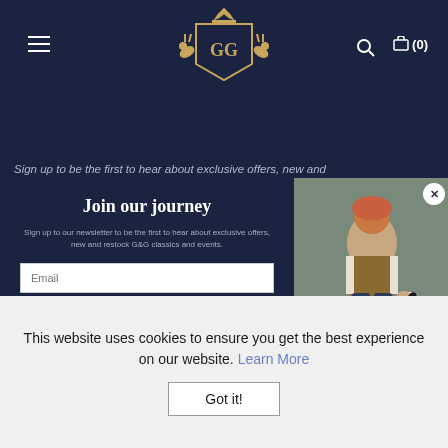[Figure (screenshot): Website header with dark navy background, hamburger menu icon on left, G&G heraldic crest logo in center with gold shield and animals, search icon and cart icon on right]
Sign up to be the first to hear about exclusive offers, new and
Join our journey
Sign up to our newsletter to be the first to hear about exclusive offers, new and restock G&G classics and events.
Email
What are you looking for?
Select an option...
Submit
No Thanks
[Figure (photo): Woman sitting in a vehicle with a black and white dog, wearing outdoor country clothing]
This website uses cookies to ensure you get the best experience on our website. Learn More
Got it!